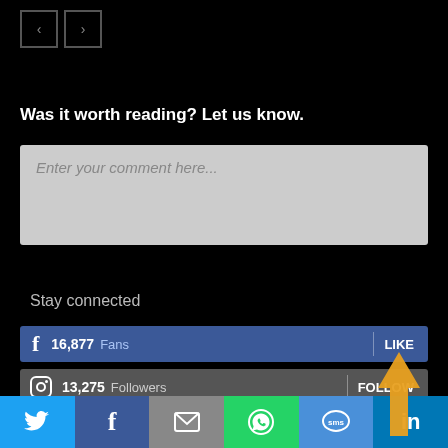[Figure (screenshot): Navigation previous/next buttons]
Was it worth reading? Let us know.
Enter your comment here...
Stay connected
16,877  Fans  LIKE
13,275  Followers  FOLLOW
[Figure (screenshot): Bottom social share bar with Twitter, Facebook, Email, WhatsApp, SMS, LinkedIn icons]